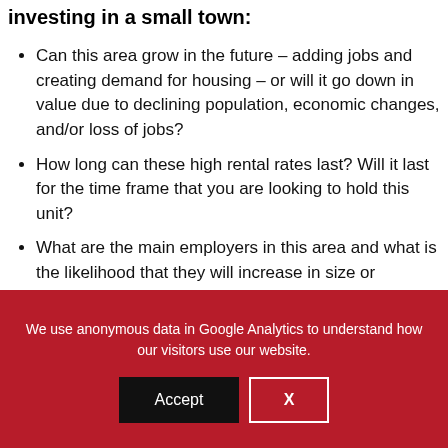investing in a small town:
Can this area grow in the future – adding jobs and creating demand for housing – or will it go down in value due to declining population, economic changes, and/or loss of jobs?
How long can these high rental rates last? Will it last for the time frame that you are looking to hold this unit?
What are the main employers in this area and what is the likelihood that they will increase in size or decrease in size in the future?
We use anonymous data in Google Analytics to understand how our visitors use our website.